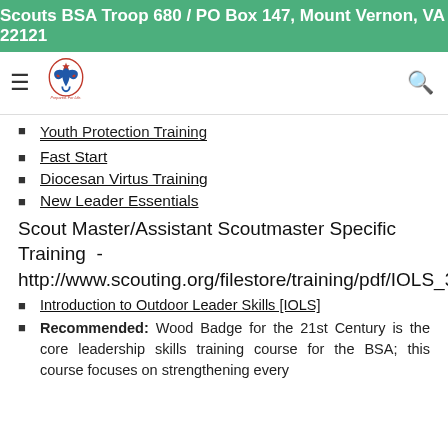Scouts BSA Troop 680 / PO Box 147, Mount Vernon, VA 22121
Youth Protection Training
Fast Start
Diocesan Virtus Training
New Leader Essentials
Scout Master/Assistant Scoutmaster Specific Training - http://www.scouting.org/filestore/training/pdf/IOLS_33640_2016.pdf
Introduction to Outdoor Leader Skills [IOLS]
Recommended: Wood Badge for the 21st Century is the core leadership skills training course for the BSA; this course focuses on strengthening every